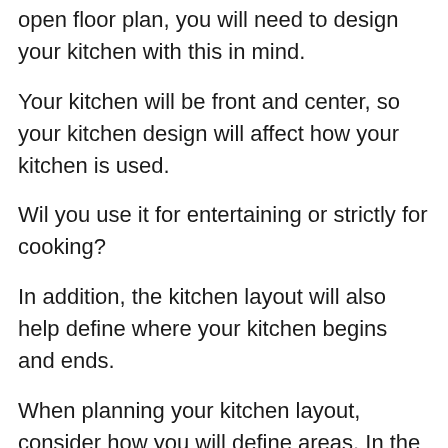open floor plan, you will need to design your kitchen with this in mind.
Your kitchen will be front and center, so your kitchen design will affect how your kitchen is used.
Wil you use it for entertaining or strictly for cooking?
In addition, the kitchen layout will also help define where your kitchen begins and ends.
When planning your kitchen layout, consider how you will define areas. In the kitchen above, the large island separates the kitchen area from